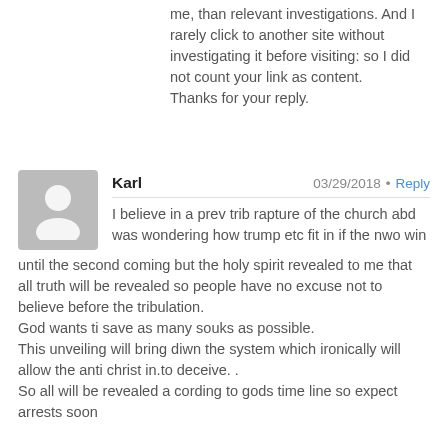me, than relevant investigations. And I rarely click to another site without investigating it before visiting: so I did not count your link as content.
Thanks for your reply.
Karl  03/29/2018 • Reply
I believe in a prev trib rapture of the church abd was wondering how trump etc fit in if the nwo win until the second coming but the holy spirit revealed to me that all truth will be revealed so people have no excuse not to believe before the tribulation.
God wants ti save as many souks as possible.
This unveiling will bring diwn the system which ironically will allow the anti christ in.to deceive. .
So all will be revealed a cording to gods time line so expect arrests soon